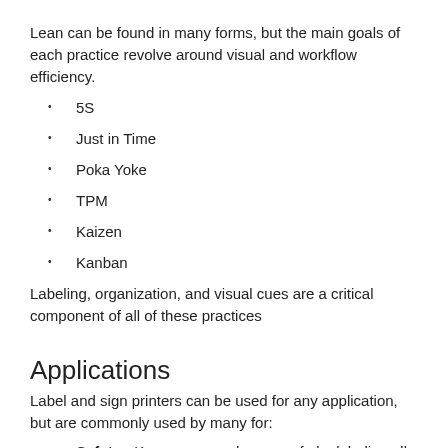Lean can be found in many forms, but the main goals of each practice revolve around visual and workflow efficiency.
5S
Just in Time
Poka Yoke
TPM
Kaizen
Kanban
Labeling, organization, and visual cues are a critical component of all of these practices
Applications
Label and sign printers can be used for any application, but are commonly used by many for:
Safety - Keep your employees safe by labeling all